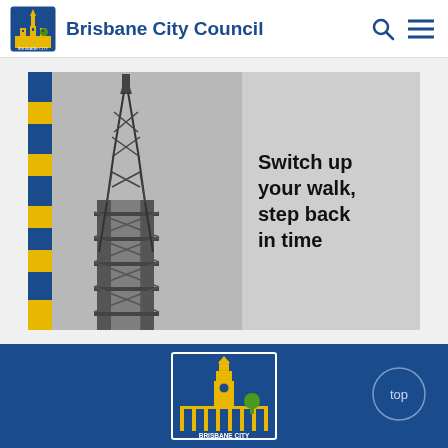Brisbane City Council
[Figure (illustration): Promotional banner image showing a historical black-and-white photograph of Brisbane City Hall tower under construction with scaffolding, beside a blue and yellow striped bar and text 'Switch up your walk, step back in time']
[Figure (logo): Brisbane City Council logo in the footer - showing city hall building in yellow/green on blue background with text BRISBANE CITY]